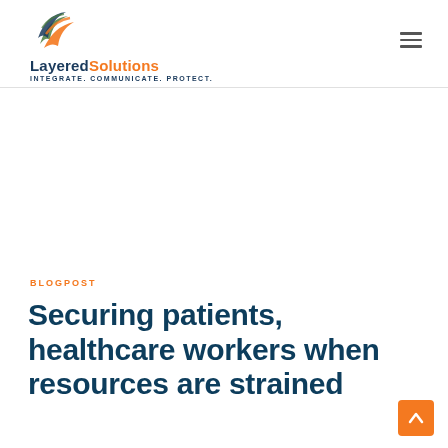Layered Solutions — INTEGRATE. COMMUNICATE. PROTECT.
BLOGPOST
Securing patients, healthcare workers when resources are strained